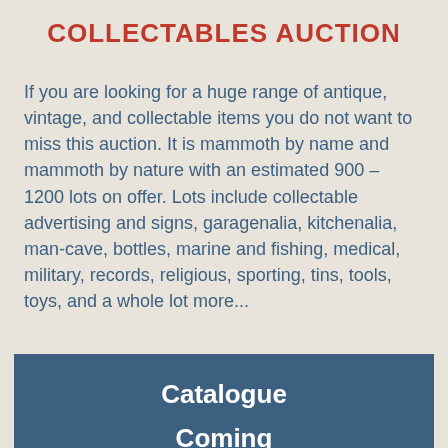COLLECTABLES AUCTION
If you are looking for a huge range of antique, vintage, and collectable items you do not want to miss this auction. It is mammoth by name and mammoth by nature with an estimated 900 – 1200 lots on offer. Lots include collectable advertising and signs, garagenalia, kitchenalia, man-cave, bottles, marine and fishing, medical, military, records, religious, sporting, tins, tools, toys, and a whole lot more...
Catalogue Coming Soon